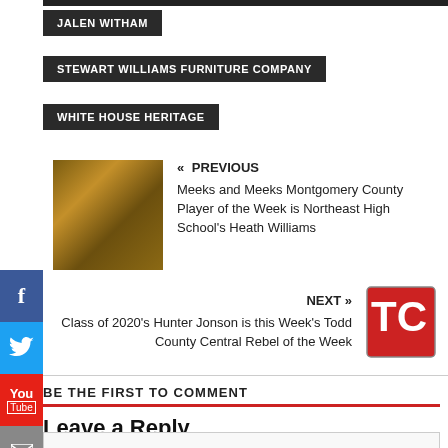JALEN WITHAM
STEWART WILLIAMS FURNITURE COMPANY
WHITE HOUSE HERITAGE
« PREVIOUS
Meeks and Meeks Montgomery County Player of the Week is Northeast High School's Heath Williams
NEXT »
Class of 2020's Hunter Jonson is this Week's Todd County Central Rebel of the Week
BE THE FIRST TO COMMENT
Leave a Reply